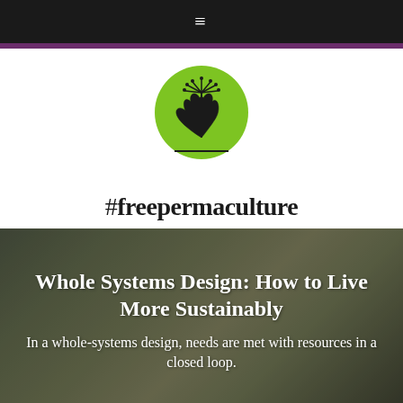≡
[Figure (logo): Green circle logo with a dandelion/plant illustration above a maple leaf, with a horizontal line beneath. Below the logo is the text #freepermaculture]
Whole Systems Design: How to Live More Sustainably
In a whole-systems design, needs are met with resources in a closed loop.